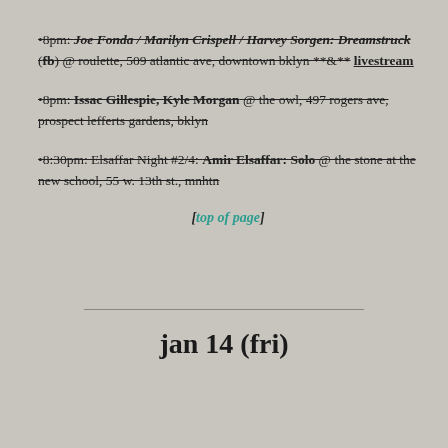•8pm: Joe Fonda / Marilyn Crispell / Harvey Sorgen: Dreamstruck (fb) @ roulette, 509 atlantic ave, downtown bklyn **&** livestream
•8pm: Issac Gillespie, Kyle Morgan @ the owl, 497 rogers ave, prospect lefferts gardens, bklyn
•8:30pm: Elsaffar Night #2/4: Amir Elsaffar: Solo @ the stone at the new school, 55 w. 13th st., mnhtn
[top of page]
jan 14 (fri)